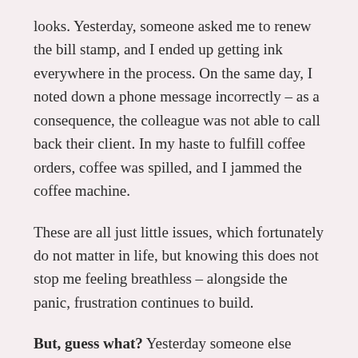looks. Yesterday, someone asked me to renew the bill stamp, and I ended up getting ink everywhere in the process. On the same day, I noted down a phone message incorrectly – as a consequence, the colleague was not able to call back their client. In my haste to fulfill coffee orders, coffee was spilled, and I jammed the coffee machine.
These are all just little issues, which fortunately do not matter in life, but knowing this does not stop me feeling breathless – alongside the panic, frustration continues to build.
But, guess what? Yesterday someone else pressed the emergency button and set off the security alarm! It isn't just me. Justice.